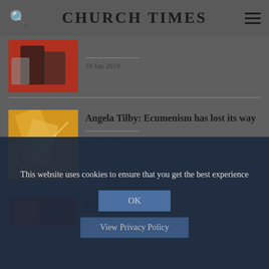CHURCH TIMES
[Figure (photo): Image of phone/devices with red and grey tones, partially cropped]
18 Jan 2019
[Figure (photo): Image of crossed devices/books with orange and yellow tones]
Angela Tilby: Ecumenism has lost its way
18 Jan 2019
[Figure (photo): Partially visible image with red tones at bottom of page]
S... (partially visible article title)
This website uses cookies to ensure that you get the best experience
OK
View Privacy Policy